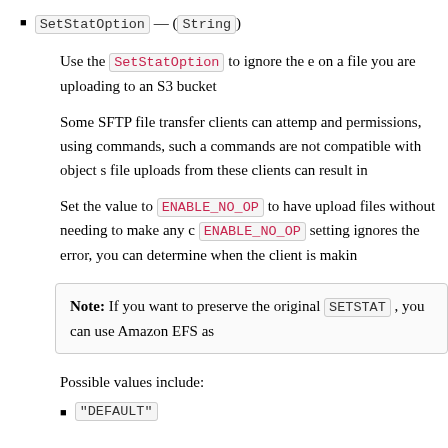SetStatOption — (String)
Use the SetStatOption to ignore the e on a file you are uploading to an S3 bucket
Some SFTP file transfer clients can attemp and permissions, using commands, such a commands are not compatible with object s file uploads from these clients can result in
Set the value to ENABLE_NO_OP to have upload files without needing to make any c ENABLE_NO_OP setting ignores the error, you can determine when the client is makin
Note: If you want to preserve the original SETSTAT , you can use Amazon EFS as
Possible values include:
"DEFAULT"